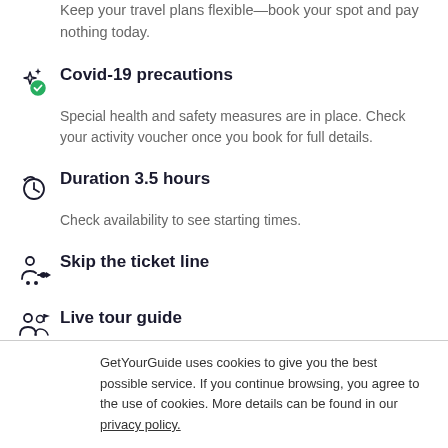Keep your travel plans flexible—book your spot and pay nothing today.
Covid-19 precautions
Special health and safety measures are in place. Check your activity voucher once you book for full details.
Duration 3.5 hours
Check availability to see starting times.
Skip the ticket line
Live tour guide
GetYourGuide uses cookies to give you the best possible service. If you continue browsing, you agree to the use of cookies. More details can be found in our privacy policy.